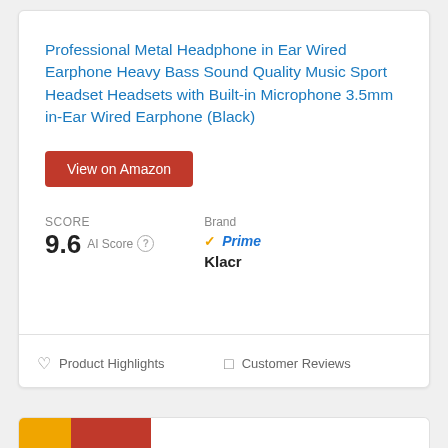Professional Metal Headphone in Ear Wired Earphone Heavy Bass Sound Quality Music Sport Headset Headsets with Built-in Microphone 3.5mm in-Ear Wired Earphone (Black)
View on Amazon
SCORE
9.6 AI Score
Brand
Klacr
Prime